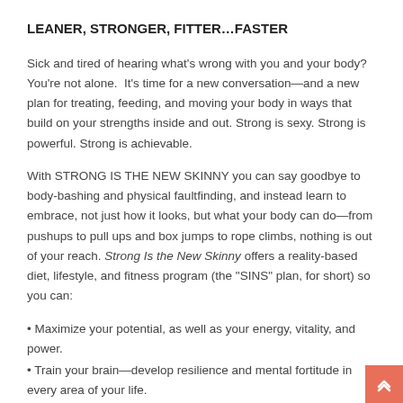LEANER, STRONGER, FITTER…FASTER
Sick and tired of hearing what's wrong with you and your body? You're not alone.  It's time for a new conversation—and a new plan for treating, feeding, and moving your body in ways that build on your strengths inside and out. Strong is sexy. Strong is powerful. Strong is achievable.
With STRONG IS THE NEW SKINNY you can say goodbye to body-bashing and physical faultfinding, and instead learn to embrace, not just how it looks, but what your body can do—from pushups to pull ups and box jumps to rope climbs, nothing is out of your reach. Strong Is the New Skinny offers a reality-based diet, lifestyle, and fitness program (the "SINS" plan, for short) so you can:
• Maximize your potential, as well as your energy, vitality, and power.
• Train your brain—develop resilience and mental fortitude in every area of your life.